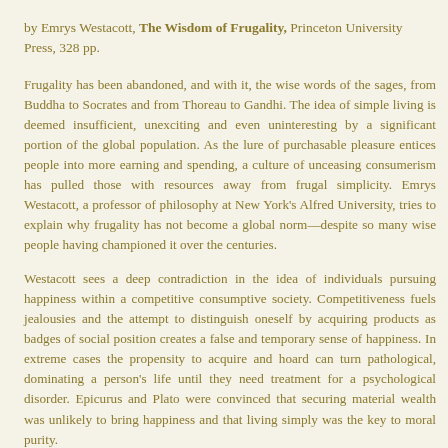by Emrys Westacott, The Wisdom of Frugality, Princeton University Press, 328 pp.
Frugality has been abandoned, and with it, the wise words of the sages, from Buddha to Socrates and from Thoreau to Gandhi. The idea of simple living is deemed insufficient, unexciting and even uninteresting by a significant portion of the global population. As the lure of purchasable pleasure entices people into more earning and spending, a culture of unceasing consumerism has pulled those with resources away from frugal simplicity. Emrys Westacott, a professor of philosophy at New York's Alfred University, tries to explain why frugality has not become a global norm—despite so many wise people having championed it over the centuries.
Westacott sees a deep contradiction in the idea of individuals pursuing happiness within a competitive consumptive society. Competitiveness fuels jealousies and the attempt to distinguish oneself by acquiring products as badges of social position creates a false and temporary sense of happiness. In extreme cases the propensity to acquire and hoard can turn pathological, dominating a person's life until they need treatment for a psychological disorder. Epicurus and Plato were convinced that securing material wealth was unlikely to bring happiness and that living simply was the key to moral purity.
It appears that the idea of frugality has fewer and fewer takers because...